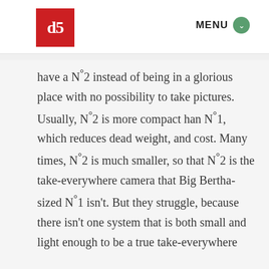db | MENU
have a N°2 instead of being in a glorious place with no possibility to take pictures. Usually, N°2 is more compact han N°1, which reduces dead weight, and cost. Many times, N°2 is much smaller, so that N°2 is the take-everywhere camera that Big Bertha-sized N°1 isn't. But they struggle, because there isn't one system that is both small and light enough to be a true take-everywhere